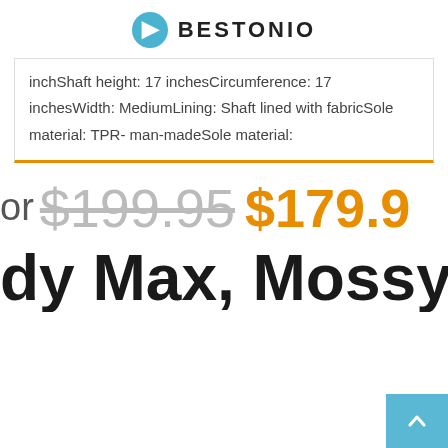BESTONIO
inchShaft height: 17 inchesCircumference: 17 inchesWidth: MediumLining: Shaft lined with fabricSole material: TPR- man-madeSole material:
or $199.95 $179.9
dy Max, Mossy O